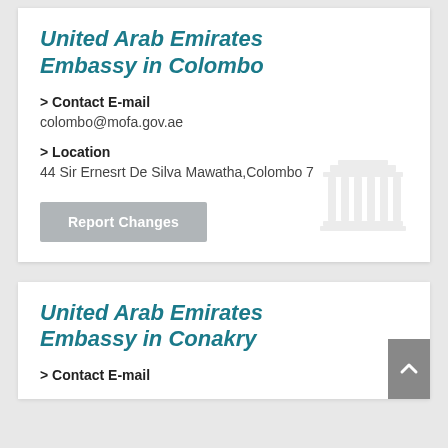United Arab Emirates Embassy in Colombo
> Contact E-mail
colombo@mofa.gov.ae
> Location
44 Sir Ernesrt De Silva Mawatha,Colombo 7
[Figure (illustration): Building/embassy icon (column pillars), light gray, decorative]
United Arab Emirates Embassy in Conakry
> Contact E-mail